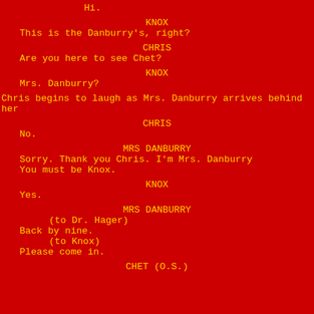Hi.
KNOX
This is the Danburry's, right?
CHRIS
Are you here to see Chet?
KNOX
Mrs. Danburry?
Chris begins to laugh as Mrs. Danburry arrives behind her
CHRIS
No.
MRS DANBURRY
Sorry. Thank you Chris. I'm Mrs. Danburry
You must be Knox.
KNOX
Yes.
MRS DANBURRY
(to Dr. Hager)
Back by nine.
(to Knox)
Please come in.
CHET (O.S.)